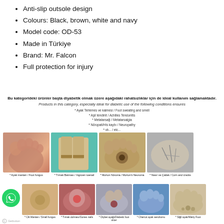Anti-slip outsole design
Colours: Black, brown, white and navy
Model code: OD-53
Made in Türkiye
Brand: Mr. Falcon
Full protection for injury
Bu kategorideki ürünler başta diyabetik olmak üzere aşağıdaki rahatsızlıklar için de ideal kullanım sağlamaktadır.
Products in this category, especially ideal for diabetic use of the following conditions ensures
* Ayak Terlemes ve kalmesi / Foot sweating and smell
* Aşil tendinit / Achilles Tendonitis
* Metatarsalji / Metatarsalgia
* Nöropati/His kaybı / Neuropathy
* vb... / etc...
[Figure (photo): Medical foot condition photos showing: Foot fungus, Ingrown toenail, Morton's Neuroma, Corn and cracks, Small fungus, Ingrown nail wound, Diabetic foot ulcer, Charcot foot syndrome, Warty foot]
* Ayak mantarı / Foot fungus | * Tırnak Batması / Ingrown toenail | * Morton Nöroma / Morton's Neuroma | * Nasır ve Çatlak / Corn and cracks
* Cilt Mantarı / Small fungus | * Tırnak dolması/Gunes nails | * Diybet ayağı/Diabetic foot ulcer | * Charcot ayak sendromu | * Siğil ayak/Warty Foot
Getbutton